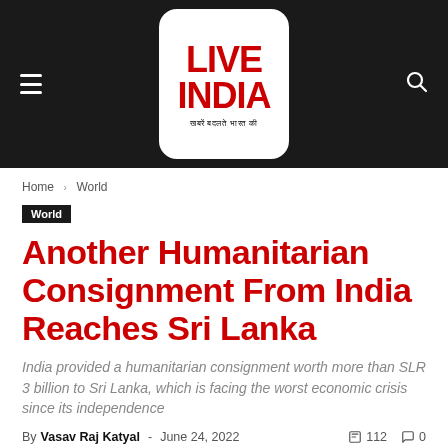LIVE INDIA — खबरें बदलते भारत की
Home › World
World
Another Humanitarian Consignment From India Reaches Sri Lanka
India provided a humanitarian consignment worth more than SLR 3 billion to Sri Lanka, which is facing the worst economic crisis since its independence
By Vasav Raj Katyal - June 24, 2022   112   0